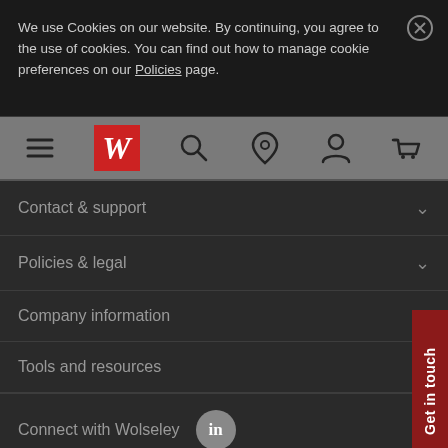We use Cookies on our website. By continuing, you agree to the use of cookies. You can find out how to manage cookie preferences on our Policies page.
[Figure (screenshot): Website navigation bar with hamburger menu, Wolseley W logo, search icon, location pin icon, account/person icon, and basket icon on a grey background]
Contact & support
Policies & legal
Company information
Tools and resources
Connect with Wolseley